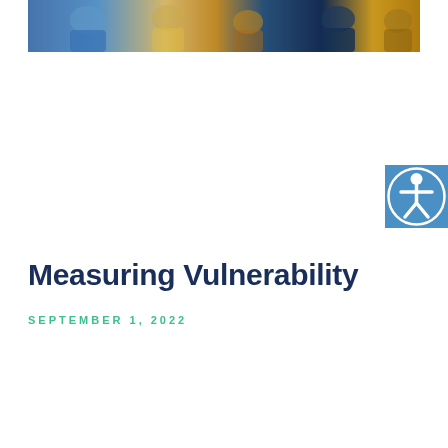[Figure (photo): Cropped photo strip at top showing people, including someone in a blue jacket, with warm and cool tones]
[Figure (other): Blue square accessibility icon button with white person/universal access symbol]
Measuring Vulnerability
SEPTEMBER 1, 2022